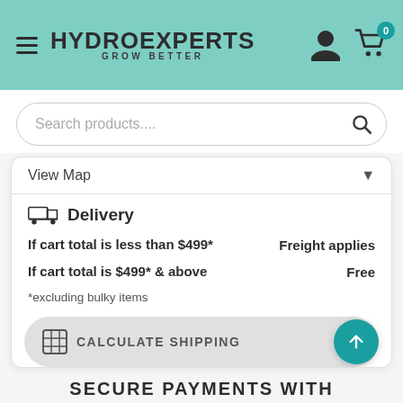[Figure (screenshot): HydroExperts website header with teal background, hamburger menu, logo, user icon, and cart icon with badge showing 0]
[Figure (screenshot): Search bar with placeholder text 'Search products....' and search icon]
View Map
Delivery
If cart total is less than $499*
Freight applies
If cart total is $499* & above
Free
*excluding bulky items
CALCULATE SHIPPING
SECURE PAYMENTS WITH